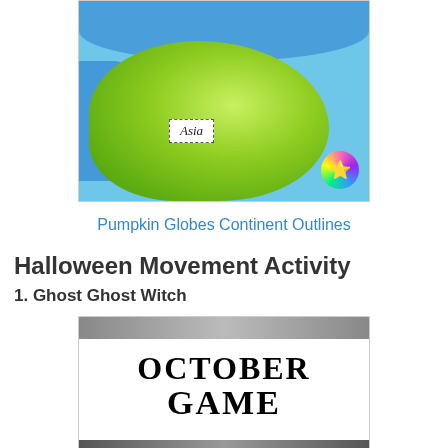[Figure (photo): A pumpkin painted to look like a globe, showing green continents on blue background, with an 'Asia' label and a star sticker]
Pumpkin Globes Continent Outlines
Halloween Movement Activity
1. Ghost Ghost Witch
[Figure (photo): An image with header bar reading 'OCTOBER GAME' in large bold serif text on white background with dark header and footer bars]